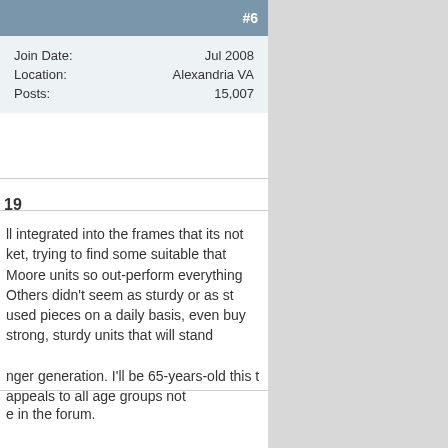#6
|  |  |
| --- | --- |
| Join Date: | Jul 2008 |
| Location: | Alexandria VA |
| Posts: | 15,007 |
19
ll integrated into the frames that its not ket, trying to find some suitable that Moore units so out-perform everything Others didn't seem as sturdy or as st used pieces on a daily basis, even buy strong, sturdy units that will stand
nger generation. I'll be 65-years-old this t appeals to all age groups not
e in the forum.